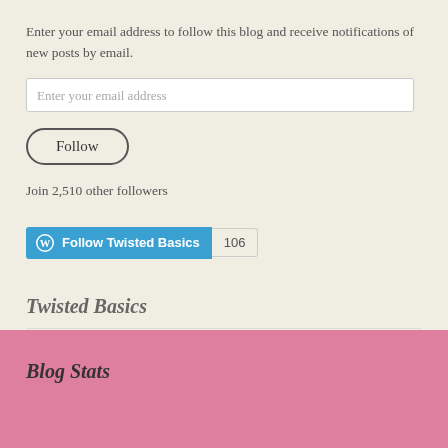Enter your email address to follow this blog and receive notifications of new posts by email.
[Figure (other): Email address input field with placeholder text 'Enter your email address']
[Figure (other): Follow button with rounded pill shape and dark border]
Join 2,510 other followers
[Figure (other): WordPress Follow Twisted Basics button (blue) with count badge showing 106]
Twisted Basics
Blog Stats